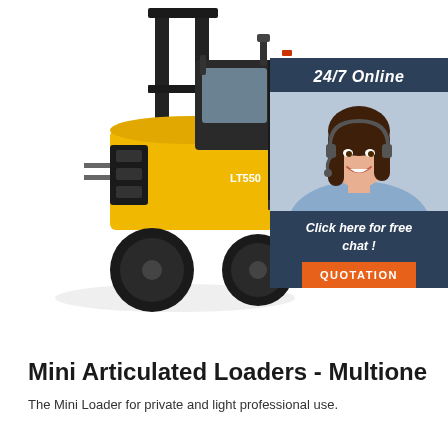[Figure (photo): Yellow LT550 forklift truck on white background, with a dark navy customer service chat panel on the right side showing '24/7 Online', a smiling woman with headset, 'Click here for free chat!' text, and an orange QUOTATION button.]
Mini Articulated Loaders - Multione
The Mini Loader for private and light professional use.